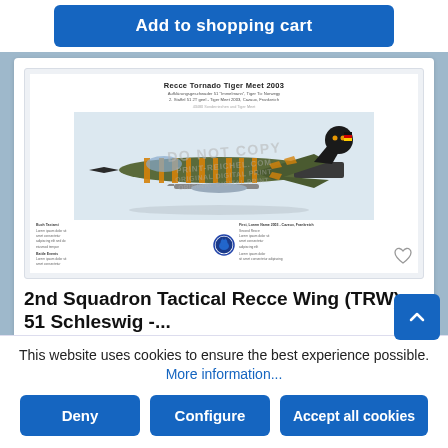[Figure (other): Add to shopping cart button - blue rounded rectangle button]
[Figure (illustration): Product artwork preview for RECCE Tornado Tiger Meet 2003 - Aufklärungsgeschwader 51 'Immelmann', Tiger Meet 2003, Cazaux, Frankreich. Shows a tiger-painted Tornado jet with watermark DO NOT COPY overlaid. Contains squadron badge and small text details.]
2nd Squadron Tactical Recce Wing (TRW) 51 Schleswig -...
This website uses cookies to ensure the best experience possible. More information...
Deny
Configure
Accept all cookies